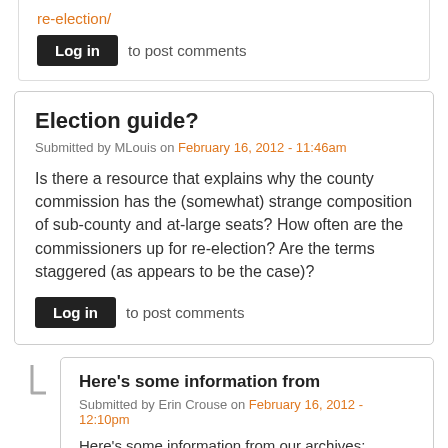re-election/
Log in to post comments
Election guide?
Submitted by MLouis on February 16, 2012 - 11:46am
Is there a resource that explains why the county commission has the (somewhat) strange composition of sub-county and at-large seats? How often are the commissioners up for re-election? Are the terms staggered (as appears to be the case)?
Log in to post comments
Here's some information from
Submitted by Erin Crouse on February 16, 2012 - 12:10pm
Here's some information from our archives: